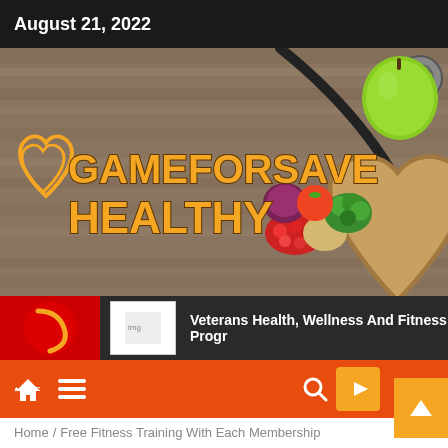August 21, 2022
[Figure (photo): Hero banner image showing a wooden table with a heart-shaped plate filled with healthy foods including cranberries, grains, broccoli, onion, tomato, and a stethoscope with a green apple in the background. Overlaid text reads GAMEFORSAVE HEALTHY with a heart logo.]
Veterans Health, Wellness And Fitness Progr
Home /  Free Fitness Training With Each Membership